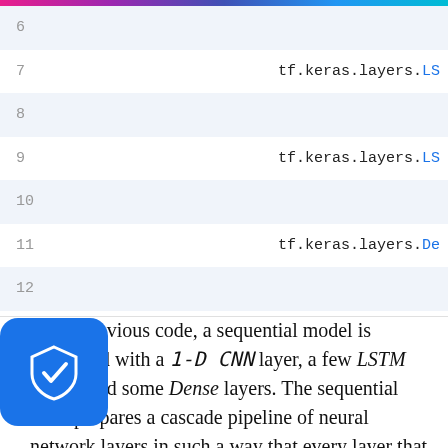[Figure (screenshot): Code editor screenshot showing lines 6-15 of Python code using tf.keras.layers (LSTM and Dense layers). Odd lines have light blue background. Line numbers on left, code content truncated on right showing tf.keras.layers.LS and tf.keras.layers.De.]
In the previous code, a sequential model is initialized with a 1-D CNN layer, a few LSTM layers, and some Dense layers. The sequential class prepares a cascade pipeline of neural network layers in such a way that every layer that you define will be added to the previous layer. The input shape parameter is initialized with None, 1, indicating the shape of input that is provided to the model. In this case, a